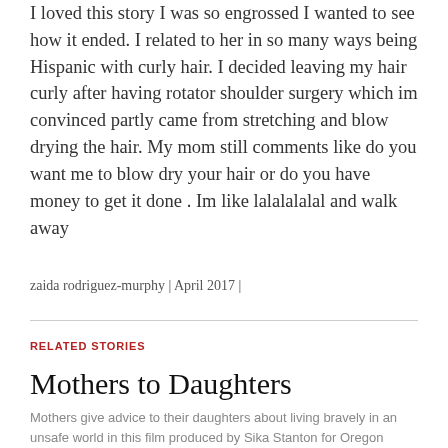I loved this story I was so engrossed I wanted to see how it ended. I related to her in so many ways being Hispanic with curly hair. I decided leaving my hair curly after having rotator shoulder surgery which im convinced partly came from stretching and blow drying the hair. My mom still comments like do you want me to blow dry your hair or do you have money to get it done . Im like lalalalalal and walk away
zaida rodriguez-murphy | April 2017 |
RELATED STORIES
Mothers to Daughters
Mothers give advice to their daughters about living bravely in an unsafe world in this film produced by Sika Stanton for Oregon Humanities.